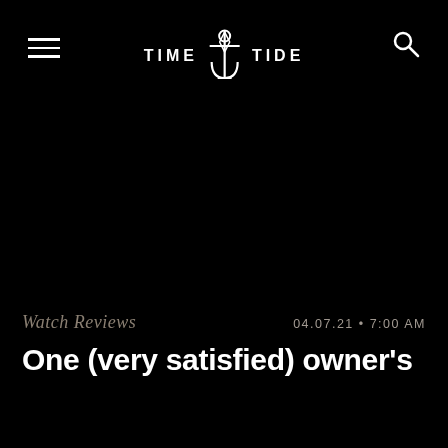TIME + TIDE (logo with anchor icon), hamburger menu, search icon
[Figure (photo): Large dark/black background area occupying most of the page, likely a watch photograph that is very dark or unloaded]
Watch Reviews
04.07.21 • 7:00 AM
One (very satisfied) owner's